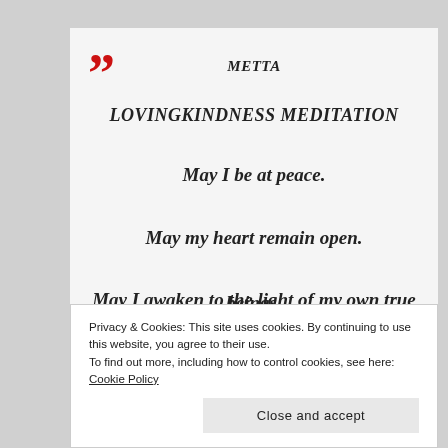METTA
LOVINGKINDNESS MEDITATION
May I be at peace.
May my heart remain open.
May I awaken to the light of my own true nature.
Privacy & Cookies: This site uses cookies. By continuing to use this website, you agree to their use. To find out more, including how to control cookies, see here: Cookie Policy
Close and accept
beings.